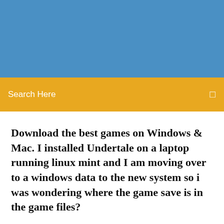[Figure (other): Blue banner header area at the top of the page]
Search Here
Download the best games on Windows & Mac. I installed Undertale on a laptop running linux mint and I am moving over to a windows data to the new system so i was wondering where the game save is in the game files?
A save editor for Undertale. Things that Undertale remembers throughout multiple playthroughs. undertale.ini. General. Name Location. Ruins - Starting point |